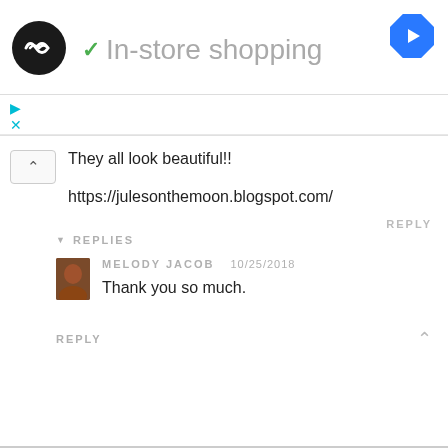[Figure (logo): Black circle logo with infinity-like double arrow symbol in white]
In-store shopping
[Figure (logo): Blue diamond navigation/directions icon with white right-arrow]
They all look beautiful!!
https://julesonthemoon.blogspot.com/
REPLY
REPLIES
MELODY JACOB
10/25/2018
Thank you so much.
REPLY